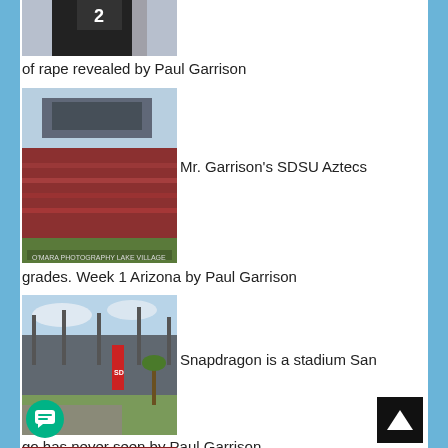[Figure (photo): Cropped photo of a football player wearing number 2 in a black jersey]
of rape revealed by Paul Garrison
[Figure (photo): Stadium filled with fans at an SDSU Aztecs football game, O'Mara Photography Lake Village watermark]
Mr. Garrison's SDSU Aztecs
grades. Week 1 Arizona by Paul Garrison
[Figure (photo): Exterior view of Snapdragon Stadium in San Diego with palm trees and red banners]
Snapdragon is a stadium San
go has never seen by Paul Garrison
[Figure (photo): Partially visible sports photo at the bottom of the page]